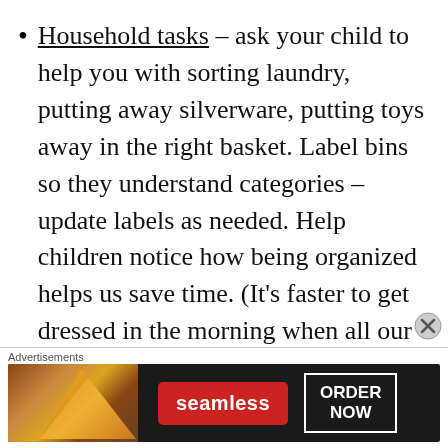Household tasks – ask your child to help you with sorting laundry, putting away silverware, putting toys away in the right basket. Label bins so they understand categories – update labels as needed. Help children notice how being organized helps us save time. (It's faster to get dressed in the morning when all our clothes are put away in the right place, and we don't have to rummage through a whole basket of clothes to find a matching pair of socks.)
[Figure (other): Advertisement banner for Seamless food delivery service showing pizza image on left, red Seamless logo button in center, and ORDER NOW button on right, on dark background. Labeled 'Advertisements' above.]